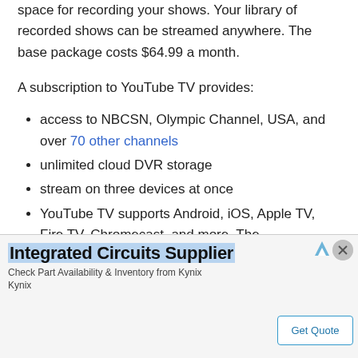space for recording your shows. Your library of recorded shows can be streamed anywhere. The base package costs $64.99 a month.
A subscription to YouTube TV provides:
access to NBCSN, Olympic Channel, USA, and over 70 other channels
unlimited cloud DVR storage
stream on three devices at once
YouTube TV supports Android, iOS, Apple TV, Fire TV, Chromecast, and more. The
[Figure (other): Advertisement banner for Integrated Circuits Supplier (Kynix). Contains headline 'Integrated Circuits Supplier', subtext 'Check Part Availability & Inventory from Kynix', brand name 'Kynix', and a 'Get Quote' button. Has close (X) button and ad arrow icon in top-right corner.]